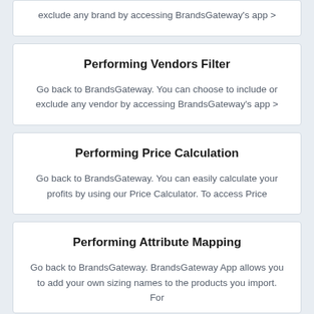exclude any brand by accessing BrandsGateway's app >
Performing Vendors Filter
Go back to BrandsGateway. You can choose to include or exclude any vendor by accessing BrandsGateway's app >
Performing Price Calculation
Go back to BrandsGateway. You can easily calculate your profits by using our Price Calculator. To access Price
Performing Attribute Mapping
Go back to BrandsGateway. BrandsGateway App allows you to add your own sizing names to the products you import. For